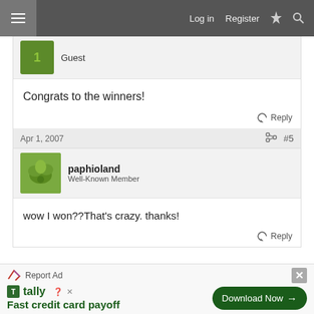Log in  Register
Guest
Congrats to the winners!
Reply
Apr 1, 2007  #5
paphioland
Well-Known Member
wow I won??That's crazy. thanks!
Reply
Report Ad  Fast credit card payoff  Download Now